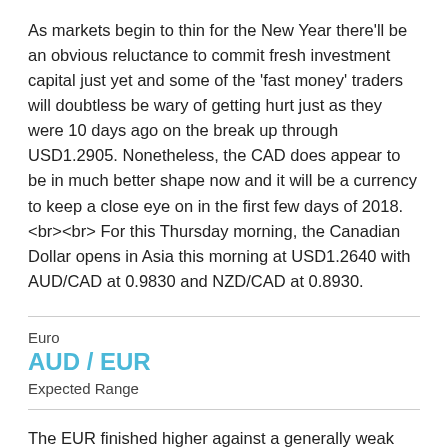As markets begin to thin for the New Year there'll be an obvious reluctance to commit fresh investment capital just yet and some of the 'fast money' traders will doubtless be wary of getting hurt just as they were 10 days ago on the break up through USD1.2905. Nonetheless, the CAD does appear to be in much better shape now and it will be a currency to keep a close eye on in the first few days of 2018. <br><br> For this Thursday morning, the Canadian Dollar opens in Asia this morning at USD1.2640 with AUD/CAD at 0.9830 and NZD/CAD at 0.8930.
Euro
AUD / EUR
Expected Range
The EUR finished higher against a generally weak US Dollar on Wednesday but did no better than hold its own against the GBP whilst falling against the Australian, New